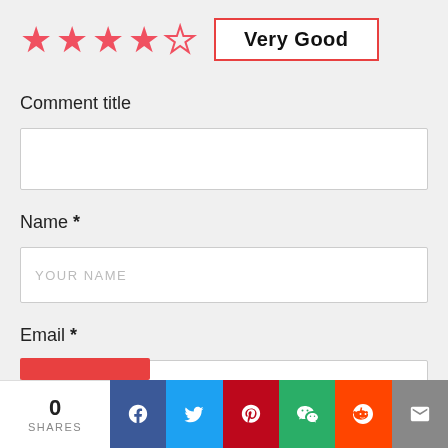[Figure (other): Star rating: 4 out of 5 filled red stars, plus a label box 'Very Good' with red border]
Comment title
[Figure (other): Empty text input field for Comment title]
Name *
[Figure (other): Text input field with placeholder YOUR NAME]
Email *
[Figure (other): Text input field with placeholder YOUR@EMAIL.COM]
0 SHARES | Facebook | Twitter | Pinterest | WeChat | Reddit | Email